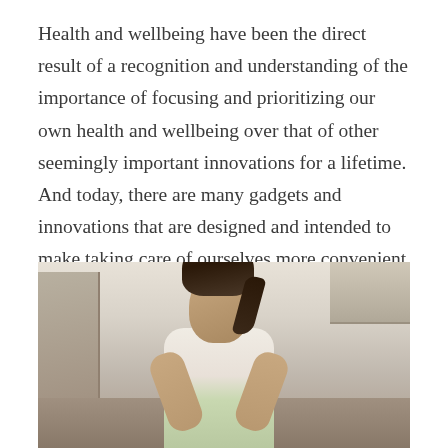Health and wellbeing have been the direct result of a recognition and understanding of the importance of focusing and prioritizing our own health and wellbeing over that of other seemingly important innovations for a lifetime. And today, there are many gadgets and innovations that are designed and intended to make taking care of ourselves more convenient and more efficient such as the air fryer.
[Figure (photo): A woman with dark hair pulled back, wearing a white top and green apron, smiling and looking downward in a kitchen setting.]